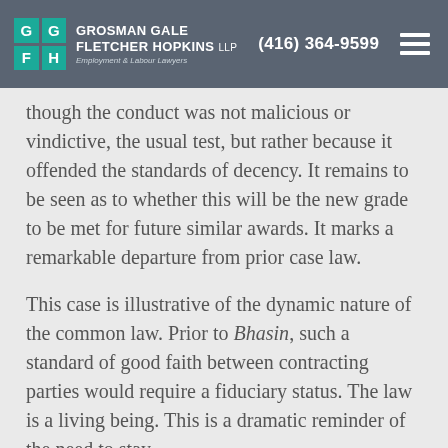GROSMAN GALE FLETCHER HOPKINS LLP | Employment & Labour Lawyers | (416) 364-9599
though the conduct was not malicious or vindictive, the usual test, but rather because it offended the standards of decency. It remains to be seen as to whether this will be the new grade to be met for future similar awards. It marks a remarkable departure from prior case law.
This case is illustrative of the dynamic nature of the common law. Prior to Bhasin, such a standard of good faith between contracting parties would require a fiduciary status. The law is a living being. This is a dramatic reminder of the need to stay